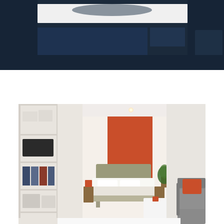[Figure (photo): Top image: dark navy blue room interior, partially visible with a white rectangular element (possibly a sign or board) on the wall. Bottom image: modern apartment interior showing a living/bedroom space with white bookshelves on the left, a bedroom area visible through an archway with an orange accent wall and a bed with beige/tan headboard, and a gray sofa with an orange cushion on the right, wood-look flooring.]